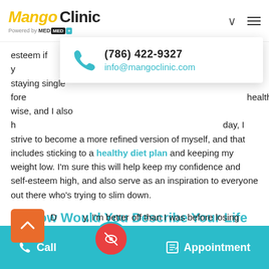Mango Clinic — Powered by MED+
[Figure (infographic): Contact popup with phone icon, phone number (786) 422-9327 and email info@mangoclinic.com]
esteem if y... ar is staying single fore... health-wise, and I also h... day, I strive to become a more refined version of myself, and that includes sticking to a healthy diet plan and keeping my weight low. I'm sure this will help keep my confidence and self-esteem high, and also serve as an inspiration to everyone out there who's trying to slim down.
Q: How Would You Describe Your Life and Lifestyle at the Moment?
D...y, I'm better off than I was before losing weight. I've a...ne to understand that it wasn't the constant fat
Call | Appointment